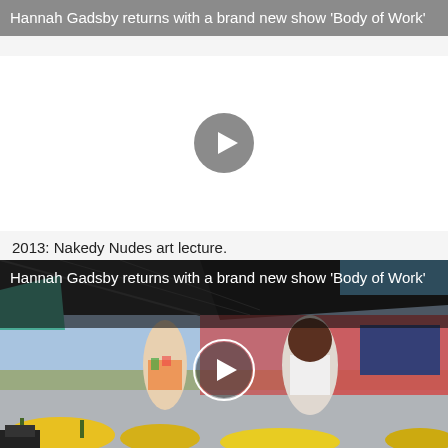Hannah Gadsby returns with a brand new show 'Body of Work'
[Figure (screenshot): Video player with white background and a grey circular play button in the center]
2013: Nakedy Nudes art lecture.
Hannah Gadsby returns with a brand new show 'Body of Work'
[Figure (photo): Outdoor market scene with people shopping under dark tent canopies, flowers in foreground, with circular play button overlay indicating a video]